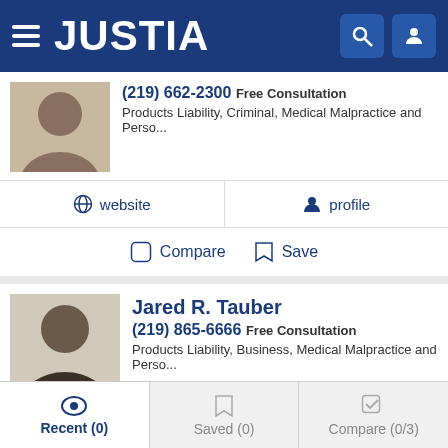JUSTIA
(219) 662-2300 Free Consultation
Products Liability, Criminal, Medical Malpractice and Perso...
website | profile
Compare | Save
Jared R. Tauber
(219) 865-6666 Free Consultation
Products Liability, Business, Medical Malpractice and Perso...
website | profile | email
Compare | Save
Recent (0) | Saved (0) | Compare (0/3)